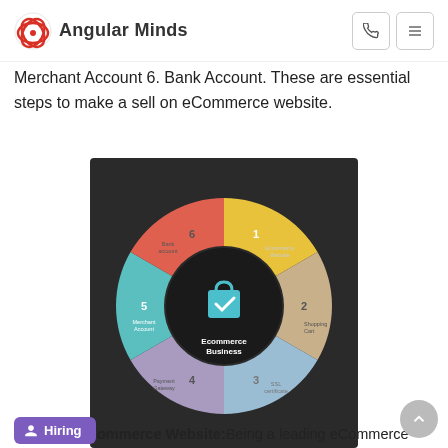Angular Minds
Merchant Account 6. Bank Account. These are essential steps to make a sell on eCommerce website.
[Figure (infographic): Circular infographic showing 6 steps for Ecommerce Business: 1. Ecommerce Website, 2. Shopping Cart, 3. SSL certificate, 4. Payment Gateway, 5. Merchant Account, 6. Bank Account. Center shows a shopping bag with checkmark labeled 'Ecommerce Business'. Segments are colored yellow, tan/beige, light blue, purple/grey, teal, red/orange, with icons for each section.]
1.Design eCommerce Website:Being a leading eCommerce